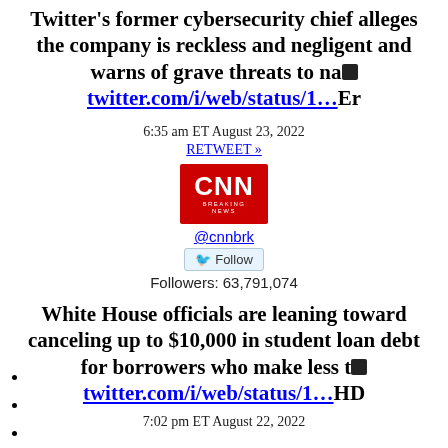Twitter's former cybersecurity chief alleges the company is reckless and negligent and warns of grave threats to na[?]twitter.com/i/web/status/1…Er
6:35 am ET August 23, 2022
RETWEET »
[Figure (logo): CNN Breaking News logo in red square]
@cnnbrk
Follow button
Followers: 63,791,074
White House officials are leaning toward canceling up to $10,000 in student loan debt for borrowers who make less t[?]twitter.com/i/web/status/1…HD
7:02 pm ET August 22, 2022